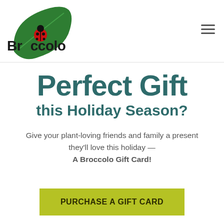[Figure (logo): Broccolo plant nursery logo: green leaf shape with ladybug, text 'Broccolo' in bold black]
Perfect Gift
this Holiday Season?
Give your plant-loving friends and family a present they'll love this holiday — A Broccolo Gift Card!
PURCHASE A GIFT CARD